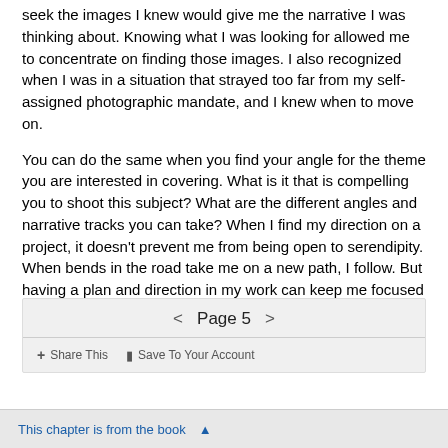seek the images I knew would give me the narrative I was thinking about. Knowing what I was looking for allowed me to concentrate on finding those images. I also recognized when I was in a situation that strayed too far from my self-assigned photographic mandate, and I knew when to move on.
You can do the same when you find your angle for the theme you are interested in covering. What is it that is compelling you to shoot this subject? What are the different angles and narrative tracks you can take? When I find my direction on a project, it doesn't prevent me from being open to serendipity. When bends in the road take me on a new path, I follow. But having a plan and direction in my work can keep me focused when the situation gets overwhelming.
< Page 5 > + Share This  Save To Your Account
This chapter is from the book